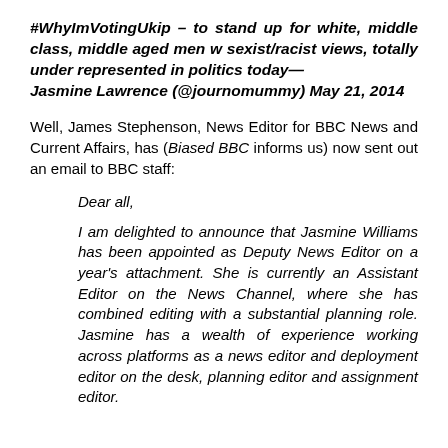#WhyImVotingUkip – to stand up for white, middle class, middle aged men w sexist/racist views, totally under represented in politics today— Jasmine Lawrence (@journomummy) May 21, 2014
Well, James Stephenson, News Editor for BBC News and Current Affairs, has (Biased BBC informs us) now sent out an email to BBC staff:
Dear all,
I am delighted to announce that Jasmine Williams has been appointed as Deputy News Editor on a year's attachment. She is currently an Assistant Editor on the News Channel, where she has combined editing with a substantial planning role. Jasmine has a wealth of experience working across platforms as a news editor and deployment editor on the desk, planning editor and assignment editor.